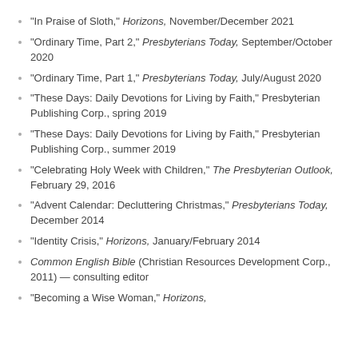"In Praise of Sloth," Horizons, November/December 2021
"Ordinary Time, Part 2," Presbyterians Today, September/October 2020
"Ordinary Time, Part 1," Presbyterians Today, July/August 2020
"These Days: Daily Devotions for Living by Faith," Presbyterian Publishing Corp., spring 2019
"These Days: Daily Devotions for Living by Faith," Presbyterian Publishing Corp., summer 2019
"Celebrating Holy Week with Children," The Presbyterian Outlook, February 29, 2016
"Advent Calendar: Decluttering Christmas," Presbyterians Today, December 2014
"Identity Crisis," Horizons, January/February 2014
Common English Bible (Christian Resources Development Corp., 2011) — consulting editor
"Becoming a Wise Woman," Horizons,